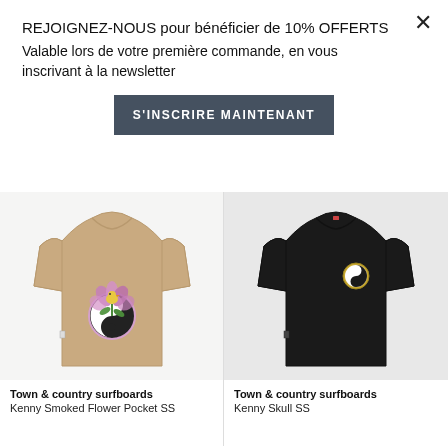REJOIGNEZ-NOUS pour bénéficier de 10% OFFERTS Valable lors de votre première commande, en vous inscrivant à la newsletter
S'INSCRIRE MAINTENANT
[Figure (photo): Beige t-shirt seen from the back with a floral yin-yang graphic design featuring a bird and flowers]
[Figure (photo): Black t-shirt with a small circular yin-yang logo on the chest]
Town & country surfboards
Kenny Smoked Flower Pocket SS
Town & country surfboards
Kenny Skull SS